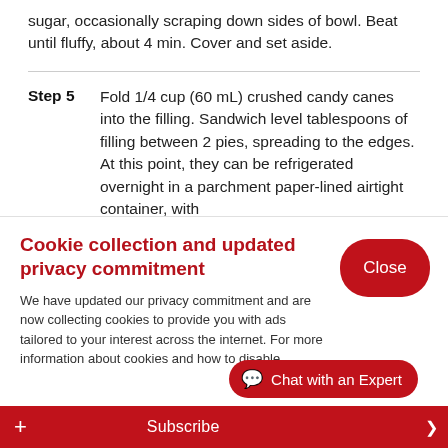sugar, occasionally scraping down sides of bowl. Beat until fluffy, about 4 min. Cover and set aside.
Step 5  Fold 1/4 cup (60 mL) crushed candy canes into the filling. Sandwich level tablespoons of filling between 2 pies, spreading to the edges. At this point, they can be refrigerated overnight in a parchment paper-lined airtight container, with
Cookie collection and updated privacy commitment
We have updated our privacy commitment and are now collecting cookies to provide you with ads tailored to your interest across the internet. For more information about cookies and how to disable
Close
+ Subscribe  Chat with an Expert